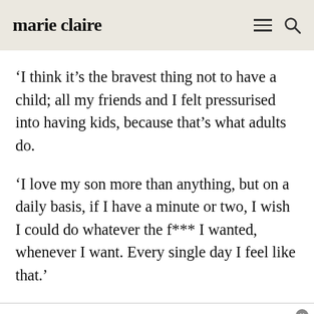marie claire
‘I think it’s the bravest thing not to have a child; all my friends and I felt pressurised into having kids, because that’s what adults do.
‘I love my son more than anything, but on a daily basis, if I have a minute or two, I wish I could do whatever the f*** I wanted, whenever I want. Every single day I feel like that.’